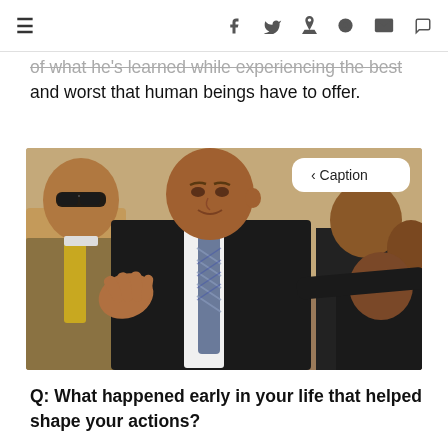≡  f  𝕋  P  d  ✉  ◻
of what he's learned while experiencing the best and worst that human beings have to offer.
[Figure (photo): A man in a black suit and patterned tie gesturing with his hands, speaking or addressing someone. A man with sunglasses stands behind him to the left. Other people are visible in the background. A white 'Caption' button overlay appears in the top right of the image.]
Q: What happened early in your life that helped shape your actions?